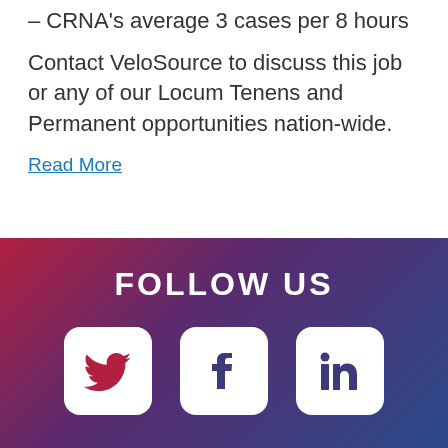– CRNA's average 3 cases per 8 hours
Contact VeloSource to discuss this job or any of our Locum Tenens and Permanent opportunities nation-wide.
Read More
FOLLOW US
[Figure (logo): Twitter, Facebook, and LinkedIn social media icons in white rounded-rectangle boxes on a red-to-blue gradient background]